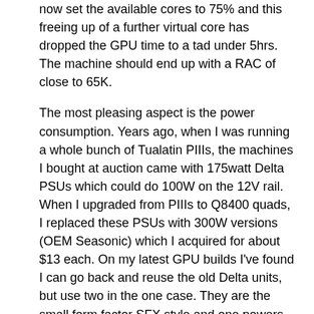now set the available cores to 75% and this freeing up of a further virtual core has dropped the GPU time to a tad under 5hrs. The machine should end up with a RAC of close to 65K.
The most pleasing aspect is the power consumption. Years ago, when I was running a whole bunch of Tualatin PIIIs, the machines I bought at auction came with 175watt Delta PSUs which could do 100W on the 12V rail. When I upgraded from PIIIs to Q8400 quads, I replaced these PSUs with 300W versions (OEM Seasonic) which I acquired for about $13 each. On my latest GPU builds I've found I can go back and reuse the old Delta units, but use two in the one case. They are the small form factor SFX style and one powers the motherboard whilst the other powers the GPU. At the wall, under full load, the machine draws just over 150 watts. I haven't tried to measure each PSU separately but